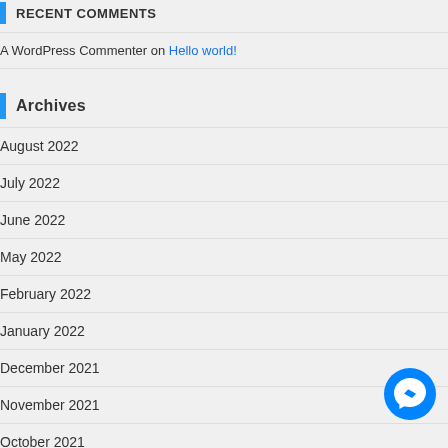RECENT COMMENTS
A WordPress Commenter on Hello world!
Archives
August 2022
July 2022
June 2022
May 2022
February 2022
January 2022
December 2021
November 2021
October 2021
[Figure (logo): Facebook Messenger floating button icon, blue circle with white lightning bolt messenger logo]